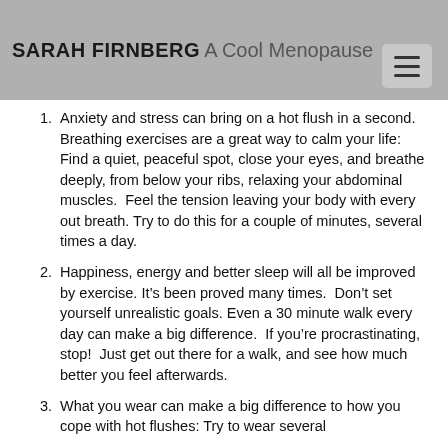SARAH FIRNBERG A Cool Menopause
Anxiety and stress can bring on a hot flush in a second. Breathing exercises are a great way to calm your life:  Find a quiet, peaceful spot, close your eyes, and breathe deeply, from below your ribs, relaxing your abdominal muscles.  Feel the tension leaving your body with every out breath. Try to do this for a couple of minutes, several times a day.
Happiness, energy and better sleep will all be improved by exercise. It’s been proved many times.  Don’t set yourself unrealistic goals. Even a 30 minute walk every day can make a big difference.  If you’re procrastinating, stop!  Just get out there for a walk, and see how much better you feel afterwards.
What you wear can make a big difference to how you cope with hot flushes: Try to wear several